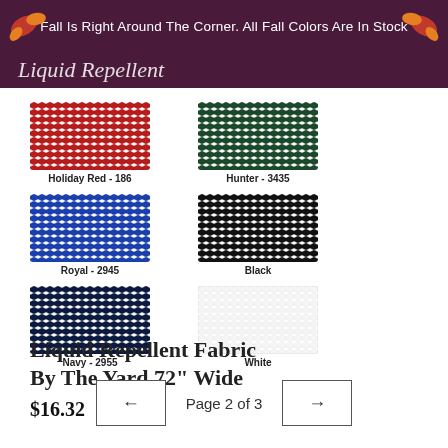Fall Is Right Around The Corner. All Fall Colors Are In Stock
Liquid Repellent
[Figure (photo): Six fabric color swatches arranged in three rows of two: Holiday Red - 186 (red), Hunter - 3435 (dark green), Royal - 2945 (blue), Black, Navy - 2955 (dark navy), White]
Liquid Repellent Fabric By The Yard 72" Wide
$16.32
Page 2 of 3